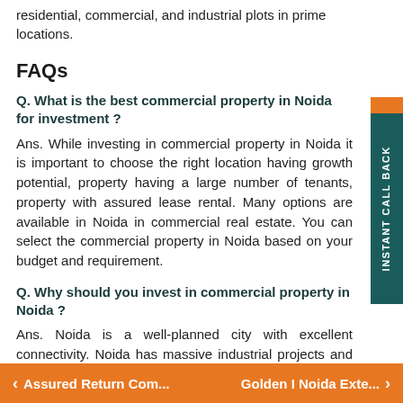residential, commercial, and industrial plots in prime locations.
FAQs
Q. What is the best commercial property in Noida for investment ?
Ans. While investing in commercial property in Noida it is important to choose the right location having growth potential, property having a large number of tenants, property with assured lease rental. Many options are available in Noida in commercial real estate. You can select the commercial property in Noida based on your budget and requirement.
Q. Why should you invest in commercial property in Noida ?
Ans. Noida is a well-planned city with excellent connectivity. Noida has massive industrial projects and headquarters of many national and international companies. If you are looking for commercial investment for a stable rental income and capital appreciation, Noida is the perfect location to invest.
< Assured Return Com...        Golden I Noida Exte... >